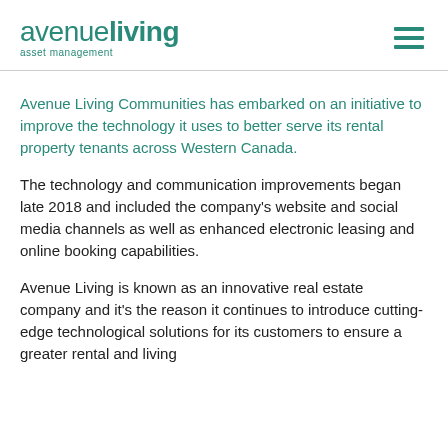avenue living asset management
Avenue Living Communities has embarked on an initiative to improve the technology it uses to better serve its rental property tenants across Western Canada.
The technology and communication improvements began late 2018 and included the company's website and social media channels as well as enhanced electronic leasing and online booking capabilities.
Avenue Living is known as an innovative real estate company and it's the reason it continues to introduce cutting-edge technological solutions for its customers to ensure a greater rental and living